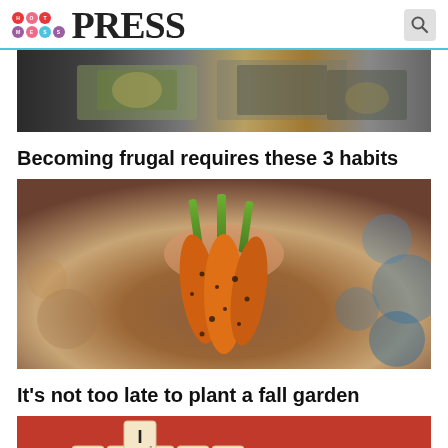HOTMESS PRESS
[Figure (photo): Photo of US dollar bills spread out]
Becoming frugal requires these 3 habits
[Figure (photo): Photo of a hand holding freshly picked carrots covered in dirt]
It's not too late to plant a fall garden
[Figure (photo): Photo of Scrabble tiles spelling GINGER on a red background]